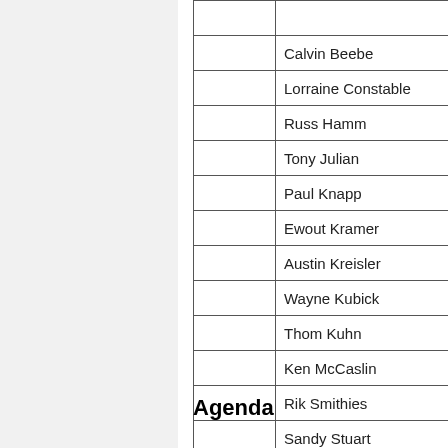|  |  |
| --- | --- |
|  |  |
|  | Calvin Beebe |
|  | Lorraine Constable |
|  | Russ Hamm |
|  | Tony Julian |
|  | Paul Knapp |
|  | Ewout Kramer |
|  | Austin Kreisler |
|  | Wayne Kubick |
|  | Thom Kuhn |
|  | Ken McCaslin |
|  | Rik Smithies |
|  | Sandy Stuart |
|  |  |
| Quorum: Chair + 4 |  |
Agenda